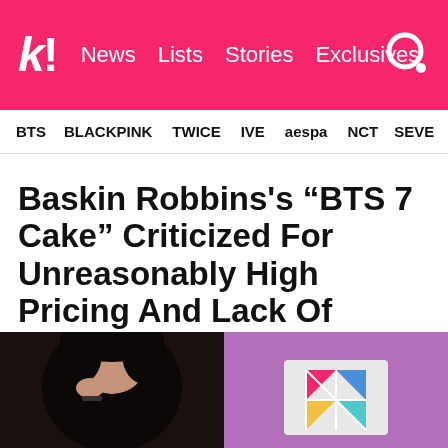k! News Lists Stories Exclusives
BTS BLACKPINK TWICE IVE aespa NCT SEVE
Baskin Robbins’s “BTS 7 Cake” Criticized For Unreasonably High Pricing And Lack Of Uniqueness
“I thought a collaboration ice cream cake with BTS will be more special than this.”
[Figure (photo): Left: dark-haired person; Right: BTS 7 Cake box on purple background]